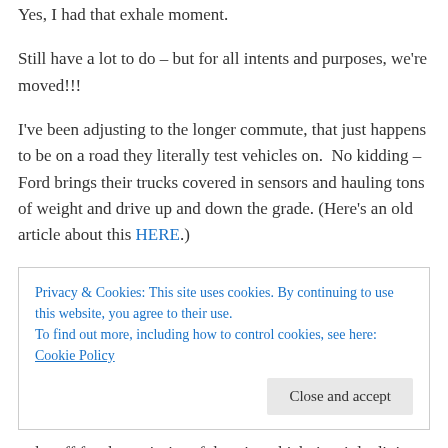Yes, I had that exhale moment.
Still have a lot to do – but for all intents and purposes, we're moved!!!
I've been adjusting to the longer commute, that just happens to be on a road they literally test vehicles on.  No kidding – Ford brings their trucks covered in sensors and hauling tons of weight and drive up and down the grade. (Here's an old article about this HERE.)
Privacy & Cookies: This site uses cookies. By continuing to use this website, you agree to their use.
To find out more, including how to control cookies, see here: Cookie Policy
Close and accept
to be off for the majority of the trip, which, in triple digits